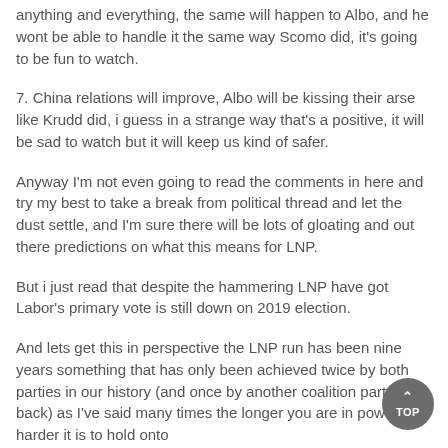anything and everything, the same will happen to Albo, and he wont be able to handle it the same way Scomo did, it's going to be fun to watch.
7. China relations will improve, Albo will be kissing their arse like Krudd did, i guess in a strange way that's a positive, it will be sad to watch but it will keep us kind of safer.
Anyway I'm not even going to read the comments in here and try my best to take a break from political thread and let the dust settle, and I'm sure there will be lots of gloating and out there predictions on what this means for LNP.
But i just read that despite the hammering LNP have got Labor's primary vote is still down on 2019 election.
And lets get this in perspective the LNP run has been nine years something that has only been achieved twice by both parties in our history (and once by another coalition party way back) as I've said many times the longer you are in power the harder it is to hold onto